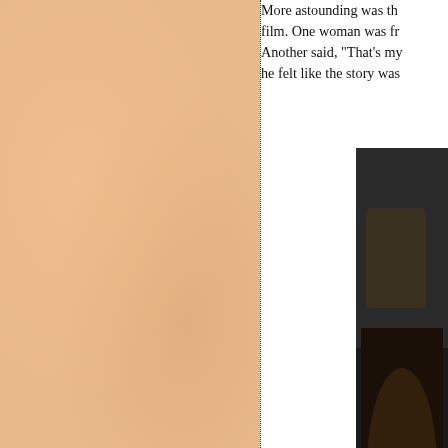[Figure (illustration): Peach/tan textured background panel on the left side of the page, taking up roughly the left 58% of the page.]
More astounding was th film. One woman was fr Another said, "That's my he felt like the story was
[Figure (photo): Partial photograph on the right edge of the page showing what appears to be a person or figure against a dark background.]
Listening to Burns talk n newsman and friend Dic November also. Dick sa
Here is one comment tha So is history." If you dou